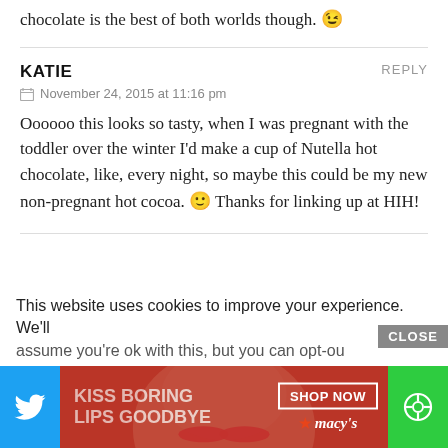chocolate is the best of both worlds though. 😉
KATIE — REPLY
November 24, 2015 at 11:16 pm
Oooooo this looks so tasty, when I was pregnant with the toddler over the winter I'd make a cup of Nutella hot chocolate, like, every night, so maybe this could be my new non-pregnant hot cocoa. 🙂 Thanks for linking up at HIH!
This website uses cookies to improve your experience. We'll assume you're ok with this, but you can opt-out if you wish
[Figure (screenshot): Advertisement bar at bottom: Twitter icon on left (blue), Macy's lipstick ad in center-right (red background with 'KISS BORING LIPS GOODBYE' and 'SHOP NOW / macy's'), green button on right, overlaid on page]
CLOSE